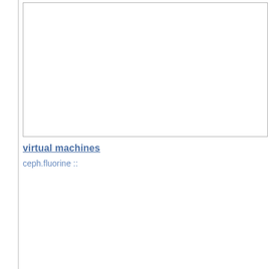[Figure (other): Empty white box with light gray border, representing a diagram or image area placeholder.]
virtual machines
ceph.fluorine ::